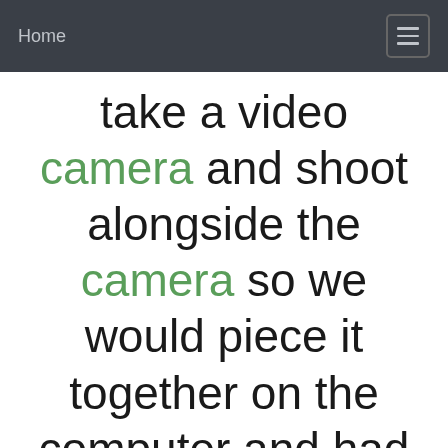Home
take a video camera and shoot alongside the camera so we would piece it together on the computer and had an extremely rough